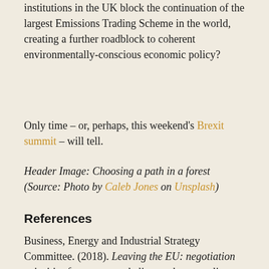institutions in the UK block the continuation of the largest Emissions Trading Scheme in the world, creating a further roadblock to coherent environmentally-conscious economic policy?
Only time – or, perhaps, this weekend's Brexit summit – will tell.
Header Image: Choosing a path in a forest (Source: Photo by Caleb Jones on Unsplash)
References
Business, Energy and Industrial Strategy Committee. (2018). Leaving the EU: negotiation priorities for energy and climate change policy enquiry, London. Available at: https://www.parliament.uk/business/committ